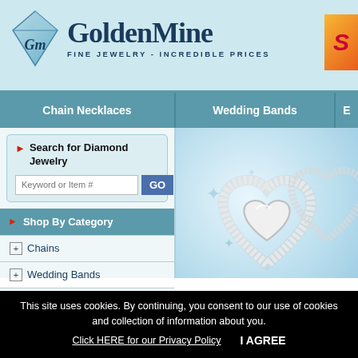[Figure (logo): GoldenMine logo with diamond graphic and tagline FINE JEWELRY - INCREDIBLE PRICES]
Chain Necklaces | Wedding Bands | E...
Search for Diamond Jewelry
[Figure (screenshot): Search input field with Keyword or Item # placeholder and GO button]
Shop By Category
+ Chains
+ Wedding Bands
+ Engagement Rings
+ Necklaces
+ Rings
[Figure (photo): Diamond heart pendant jewelry on light blue background with sparkle decorations]
Diamond Bridal Rings ▶
This site uses cookies. By continuing, you consent to our use of cookies and collection of information about you.
Click HERE for our Privacy Policy    I AGREE